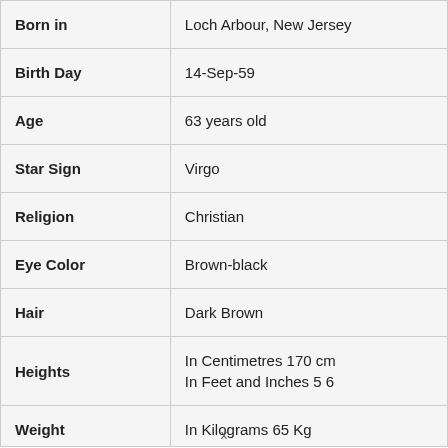| Born in | Loch Arbour, New Jersey |
| Birth Day | 14-Sep-59 |
| Age | 63 years old |
| Star Sign | Virgo |
| Religion | Christian |
| Eye Color | Brown-black |
| Hair | Dark Brown |
| Heights | In Centimetres 170 cm
In Feet and Inches 5 6 |
| Weight | In Kilograms 65 Kg |
x